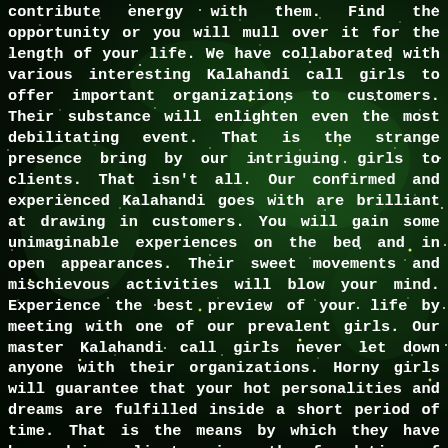contribute energy with them. Find the opportunity or you will mull over it for the length of your life. We have collaborated with various interesting Kalahandi call girls to offer important organizations to customers. Their substance will enlighten even the most debilitating event. That is the strange presence bring by our intriguing girls to clients. That isn't all. Our confirmed and experienced Kalahandi goes with are brilliant at drawing in customers. You will gain some unimaginable experiences on the bed and in open appearances. Their sweet movements and mischievous activities will blow your mind. Experience the best preview of your life by meeting with one of our prevalent girls. Our master Kalahandi call girls never let down anyone with their organizations. Horny girls will guarantee that your hot personalities and dreams are fulfilled inside a short period of time. That is the means by which they have been doing clients since the foundation of this office. Pick the girl
CLICK TO CALL